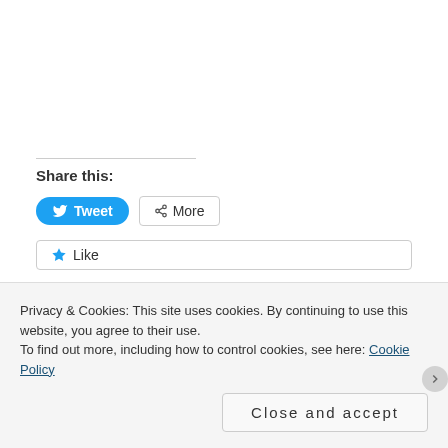Share this:
[Figure (other): Tweet button (blue rounded button with Twitter bird icon) and More button (outlined button with share icon)]
[Figure (other): Like button (outlined button with blue star icon) with text: Be the first to like this.]
Be the first to like this.
Related
Gender check: 8/17/11   Gender check: 12/22/11
Privacy & Cookies: This site uses cookies. By continuing to use this website, you agree to their use.
To find out more, including how to control cookies, see here: Cookie Policy
Close and accept